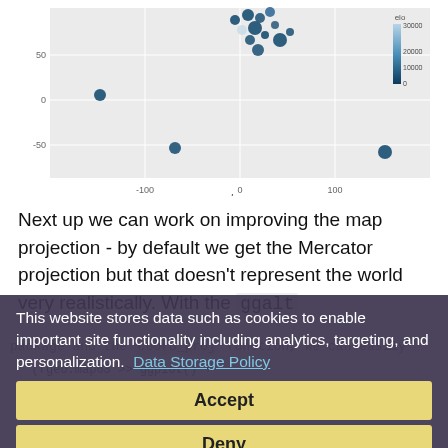[Figure (scatter-plot): Scatter plot showing points on a world map grid with lat/lng axes. Points are colored in shades of blue/dark blue with one light/tan point. Legend shows 'elo' scale from 0 to 30000. X-axis labeled 'long', y-axis unlabeled with values around -50, 0, 50.]
Next up we can work on improving the map projection - by default we get the Mercator projection but that doesn't represent the world very realistically. With the ggalt
package and the coord_proj function, we can easily
This website stores data such as cookies to enable important site functionality including analytics, targeting, and personalization. Data Storage Policy
Accept
Deny